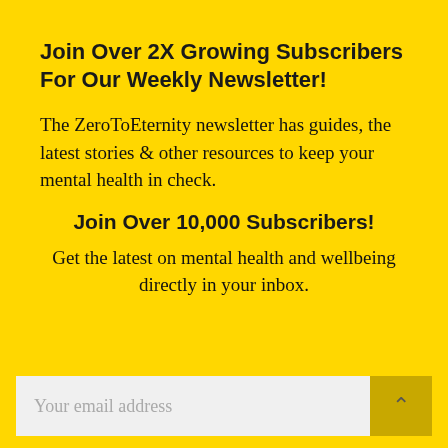Join Over 2X Growing Subscribers For Our Weekly Newsletter!
The ZeroToEternity newsletter has guides, the latest stories & other resources to keep your mental health in check.
Join Over 10,000 Subscribers!
Get the latest on mental health and wellbeing directly in your inbox.
Your email address